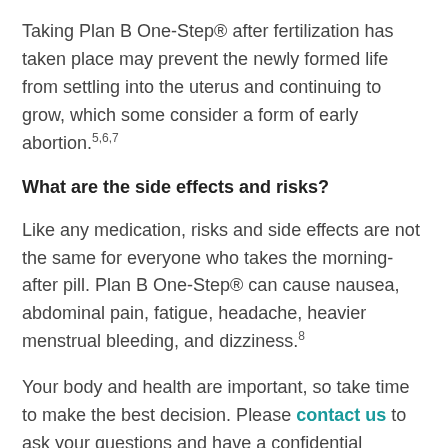Taking Plan B One-Step® after fertilization has taken place may prevent the newly formed life from settling into the uterus and continuing to grow, which some consider a form of early abortion.5,6,7
What are the side effects and risks?
Like any medication, risks and side effects are not the same for everyone who takes the morning-after pill. Plan B One-Step® can cause nausea, abdominal pain, fatigue, headache, heavier menstrual bleeding, and dizziness.8
Your body and health are important, so take time to make the best decision. Please contact us to ask your questions and have a confidential discussion about your options if